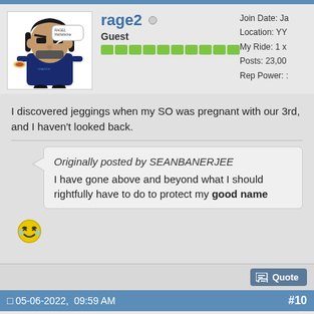rage2 (offline) Guest
Join Date: Ja
Location: YY
My Ride: 1 x
Posts: 23,00
Rep Power: :
I discovered jeggings when my SO was pregnant with our 3rd, and I haven't looked back.
Originally posted by SEANBANERJEE
I have gone above and beyond what I should rightfully have to do to protect my good name
05-06-2022,  09:59 AM   #10
Join Date: O
Location: Ca